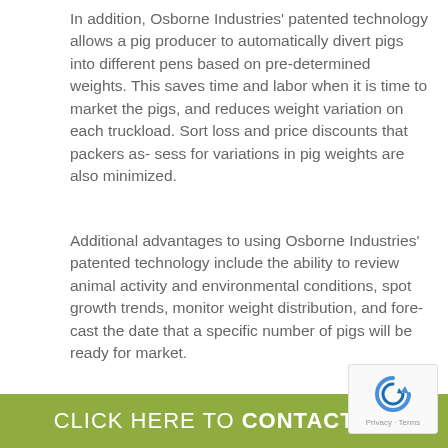In addition, Osborne Industries' patented technology allows a pig producer to automatically divert pigs into different pens based on pre-determined weights. This saves time and labor when it is time to market the pigs, and reduces weight variation on each truckload. Sort loss and price discounts that packers as- sess for variations in pig weights are also minimized.
Additional advantages to using Osborne Industries' patented technology include the ability to review animal activity and environmental conditions, spot growth trends, monitor weight distribution, and fore- cast the date that a specific number of pigs will be ready for market.
“A new era has dawned in the production of pigs as the result of a working partnership between Osborne Industries and W. Domino A/S” says Steve Langley, president of Osborne Industries. “This agreement will help pork producers in Europe take advantage of the unique value both organizations h...
CLICK HERE TO CONTACT US